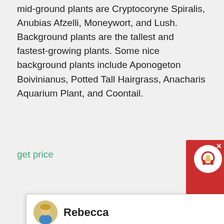mid-ground plants are Cryptocoryne Spiralis, Anubias Afzelli, Moneywort, and Lush. Background plants are the tallest and fastest-growing plants. Some nice background plants include Aponogeton Boivinianus, Potted Tall Hairgrass, Anacharis Aquarium Plant, and Coontail.
get price
Rebecca
Welcome to Liming Heavy Industry! Now our on-line service is chatting with you! Please choose the language:
[Figure (photo): Industrial facility with large white cylindrical silos and pipes, blue sky, palm tree on left, blue conveyor or equipment on right. A teal/blue circle with number 1 is overlaid on the photo.]